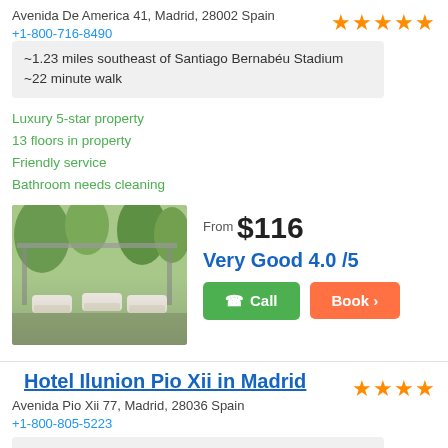Avenida De America 41, Madrid, 28002 Spain
+1-800-716-8490
~1.23 miles southeast of Santiago Bernabéu Stadium
~22 minute walk
Luxury 5-star property
13 floors in property
Friendly service
Bathroom needs cleaning
[Figure (photo): Outdoor hotel terrace with white lounge chairs and pergola structure surrounded by trees]
From $116
Very Good 4.0 /5
Call
Book >
Hotel Ilunion Pio Xii in Madrid
Avenida Pio Xii 77, Madrid, 28036 Spain
+1-800-805-5223
~1.39 miles northeast of Santiago Bernabéu Stadium
~24 minute walk
High end hotel
7 floors in hotel